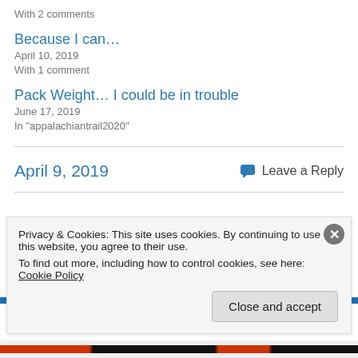With 2 comments
Because I can…
April 10, 2019
With 1 comment
Pack Weight… I could be in trouble
June 17, 2019
In "appalachiantrail2020"
April 9, 2019
Leave a Reply
Privacy & Cookies: This site uses cookies. By continuing to use this website, you agree to their use.
To find out more, including how to control cookies, see here: Cookie Policy
Close and accept